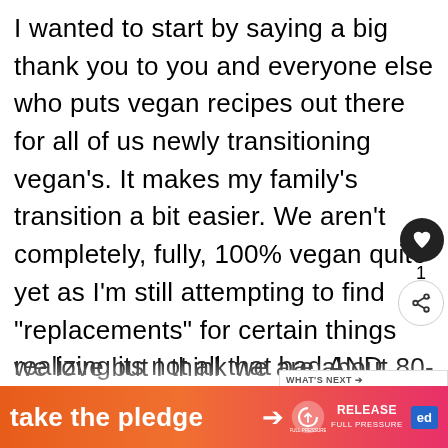I wanted to start by saying a big thank you to you and everyone else who puts vegan recipes out there for all of us newly transitioning vegan's. It makes my family's transition a bit easier. We aren't completely, fully, 100% vegan quite yet as I'm still attempting to find "replacements" for certain things we love but I think we are about 80-90% there. Had you asked me a year ago if I'd make this kind of transition, I would have vehemently said no thanks. But I'm realizing its not all that bad AND
WHAT'S NEXT → Vegan Salted Caramel
take the pledge →